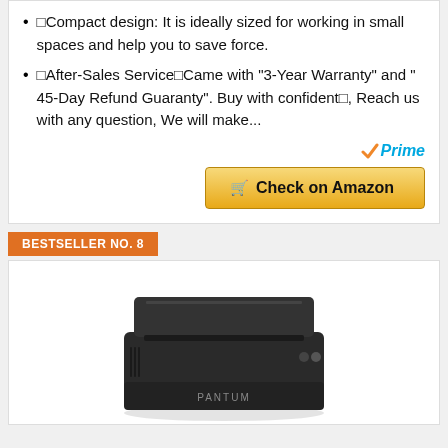🔲Compact design: It is ideally sized for working in small spaces and help you to save force.
🔲After-Sales Service🔲Came with "3-Year Warranty" and " 45-Day Refund Guaranty". Buy with confident🔲, Reach us with any question, We will make...
[Figure (logo): Amazon Prime logo with orange checkmark and blue italic Prime text]
[Figure (other): Golden 'Check on Amazon' button with shopping cart icon]
BESTSELLER NO. 8
[Figure (photo): Photo of a Pantum black compact laser printer]